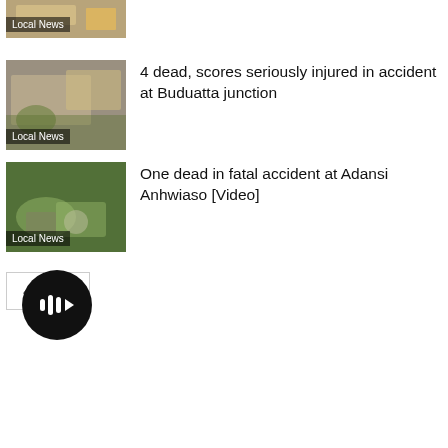[Figure (photo): Partial view of a news thumbnail showing a vehicle, labeled Local News]
[Figure (photo): News thumbnail showing a damaged vehicle covered with tarp at accident scene, labeled Local News]
4 dead, scores seriously injured in accident at Buduatta junction
[Figure (photo): News thumbnail showing people at roadside accident scene with greenery, labeled Local News]
One dead in fatal accident at Adansi Anhwiaso [Video]
[Figure (other): Pagination buttons: left arrow and right arrow]
[Figure (other): Black circular play button with audio/play icon]